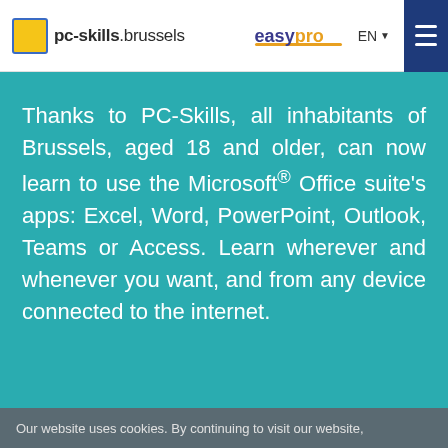pc-skills.brussels | easypro | EN | menu
Thanks to PC-Skills, all inhabitants of Brussels, aged 18 and older, can now learn to use the Microsoft® Office suite's apps: Excel, Word, PowerPoint, Outlook, Teams or Access. Learn wherever and whenever you want, and from any device connected to the internet.
Our website uses cookies. By continuing to visit our website,